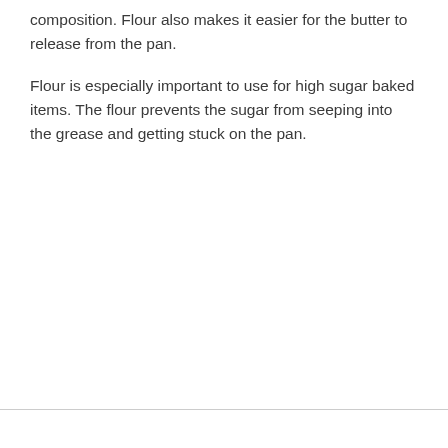composition. Flour also makes it easier for the butter to release from the pan.
Flour is especially important to use for high sugar baked items. The flour prevents the sugar from seeping into the grease and getting stuck on the pan.